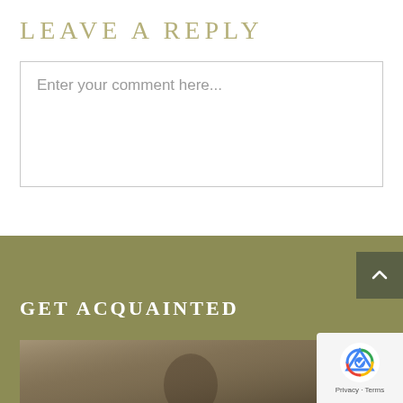LEAVE A REPLY
Enter your comment here...
GET ACQUAINTED
[Figure (photo): Partial photo of a person visible at the bottom of the page, dark blurred background]
[Figure (logo): reCAPTCHA badge with Google logo and Privacy - Terms text]